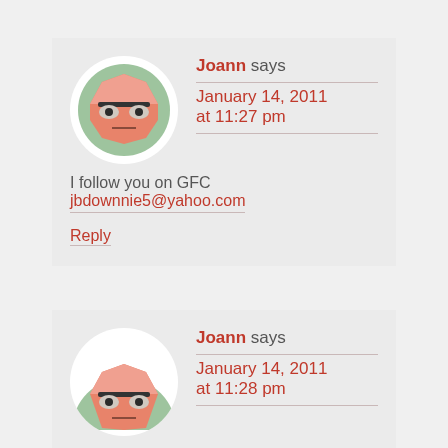Joann says
January 14, 2011
at 11:27 pm

I follow you on GFC
jbdownnie5@yahoo.com
Reply
Joann says
January 14, 2011
at 11:28 pm